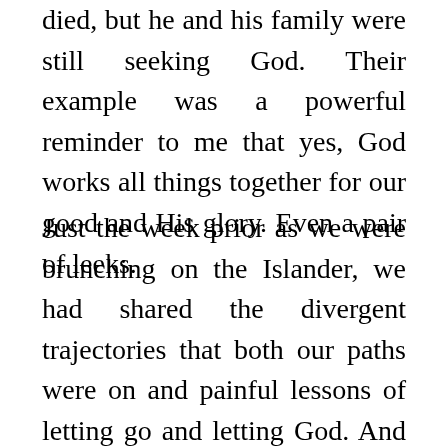died, but he and his family were still seeking God. Their example was a powerful reminder to me that yes, God works all things together for our good and His glory. Even a pair of leeks.
Just the week prior as we were brunching on the Islander, we had shared the divergent trajectories that both our paths were on and painful lessons of letting go and letting God. And now, another dream had been shelved. More letting go. More being still. I was so thankful, though, to see them navigate